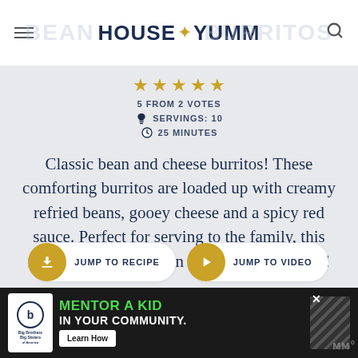HOUSE OF YUMM
5 FROM 2 VOTES
SERVINGS: 10
25 MINUTES
Classic bean and cheese burritos! These comforting burritos are loaded up with creamy refried beans, gooey cheese and a spicy red sauce. Perfect for serving to the family, this meal comes together in less than 30 minutes!
JUMP TO RECIPE
JUMP TO VIDEO
MENTOR A KID IN YOUR COMMUNITY. Learn How